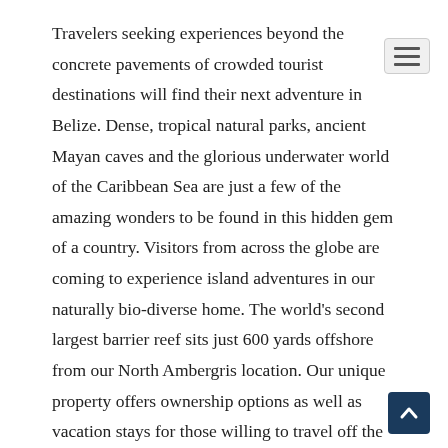Travelers seeking experiences beyond the concrete pavements of crowded tourist destinations will find their next adventure in Belize. Dense, tropical natural parks, ancient Mayan caves and the glorious underwater world of the Caribbean Sea are just a few of the amazing wonders to be found in this hidden gem of a country. Visitors from across the globe are coming to experience island adventures in our naturally bio-diverse home. The world's second largest barrier reef sits just 600 yards offshore from our North Ambergris location. Our unique property offers ownership options as well as vacation stays for those willing to travel off the beaten path. All visitors to Margaritaville Beach Villa Resort Belize will arrive by boat to our island oasis. Owning a condominium within the resort is turn-key and fully managed so owners can enjoy their time when in Belize and earn passive income while away. As an investment, owners can enjoy